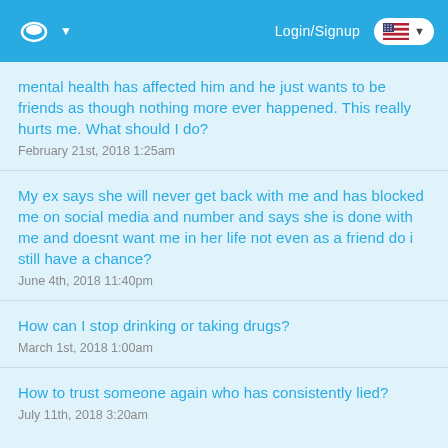Login/Signup
mental health has affected him and he just wants to be friends as though nothing more ever happened. This really hurts me. What should I do?
February 21st, 2018 1:25am
My ex says she will never get back with me and has blocked me on social media and number and says she is done with me and doesnt want me in her life not even as a friend do i still have a chance?
June 4th, 2018 11:40pm
How can I stop drinking or taking drugs?
March 1st, 2018 1:00am
How to trust someone again who has consistently lied?
July 11th, 2018 3:20am